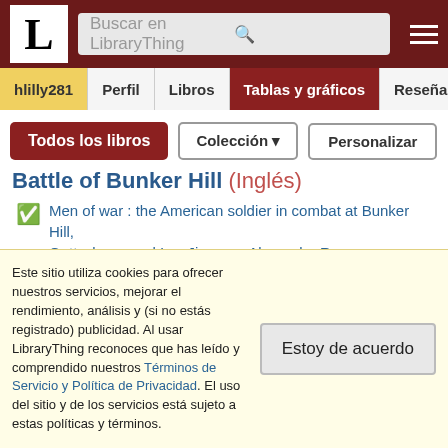Buscar en LibraryThing
hlilly281 | Perfil | Libros | Tablas y gráficos | Reseñas
Todos los libros | Colección | Personalizar
Battle of Bunker Hill (Inglés)
Men of war : the American soldier in combat at Bunker Hill, Gettysburg, and Iwo Jima por Alexander Rose
Battle of Cannae (Inglés)
Este sitio utiliza cookies para ofrecer nuestros servicios, mejorar el rendimiento, análisis y (si no estás registrado) publicidad. Al usar LibraryThing reconoces que has leído y comprendido nuestros Términos de Servicio y Política de Privacidad. El uso del sitio y de los servicios está sujeto a estas políticas y términos.